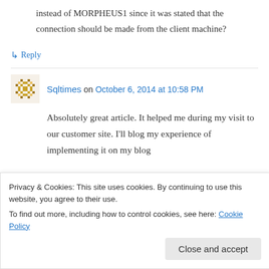instead of MORPHEUS1 since it was stated that the connection should be made from the client machine?
↳ Reply
Sqltimes on October 6, 2014 at 10:58 PM
Absolutely great article. It helped me during my visit to our customer site. I'll blog my experience of implementing it on my blog
Privacy & Cookies: This site uses cookies. By continuing to use this website, you agree to their use.
To find out more, including how to control cookies, see here: Cookie Policy
Close and accept